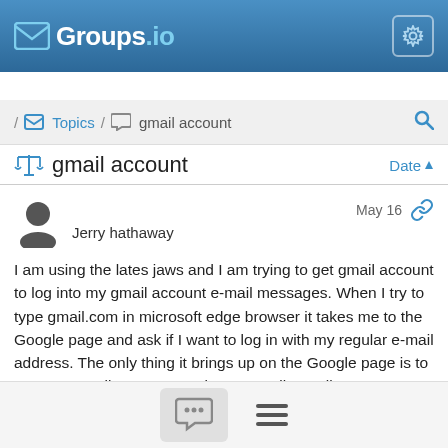Groups.io
/ Topics / gmail account
gmail account  Date
Jerry hathaway  May 16
I am using the lates jaws and I am trying to get gmail account to log into my gmail account e-mail messages. When I try to type gmail.com in microsoft edge browser it takes me to the Google page and ask if I want to log in with my regular e-mail address. The only thing it brings up on the Google page is to create a gmail account. I only use gmail e-mail as a secondary account. I really need help in solving this issue.